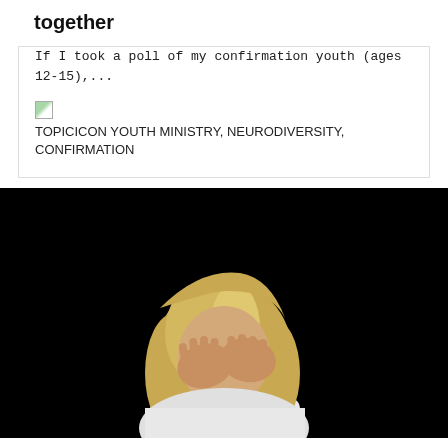together
If I took a poll of my confirmation youth (ages 12-15),...
TOPICICON YOUTH MINISTRY, NEURODIVERSITY, CONFIRMATION
[Figure (photo): Child with blonde hair covering face with both hands against dark/black background, wearing white shirt]